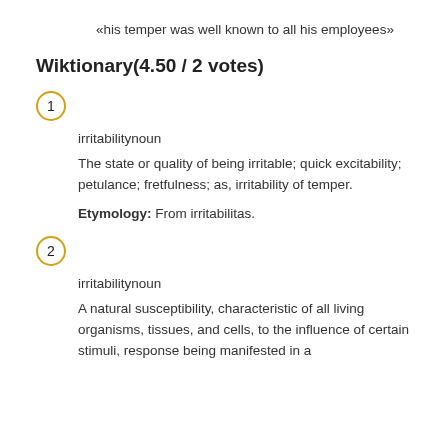«his temper was well known to all his employees»
Wiktionary(4.50 / 2 votes)
1  irritabilitynoun  The state or quality of being irritable; quick excitability; petulance; fretfulness; as, irritability of temper.  Etymology: From irritabilitas.
2  irritabilitynoun  A natural susceptibility, characteristic of all living organisms, tissues, and cells, to the influence of certain stimuli, response being manifested in a